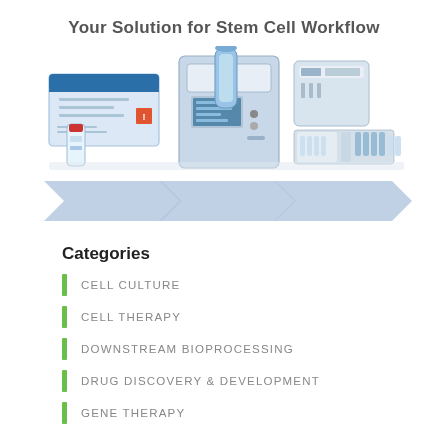Your Solution for Stem Cell Workflow
[Figure (photo): Laboratory products including a reagent kit box, vial, automated cell processing instrument, and assay kits arranged together]
[Figure (infographic): Three blue chevron/arrow shapes indicating a workflow process with three steps]
Categories
CELL CULTURE
CELL THERAPY
DOWNSTREAM BIOPROCESSING
DRUG DISCOVERY & DEVELOPMENT
GENE THERAPY